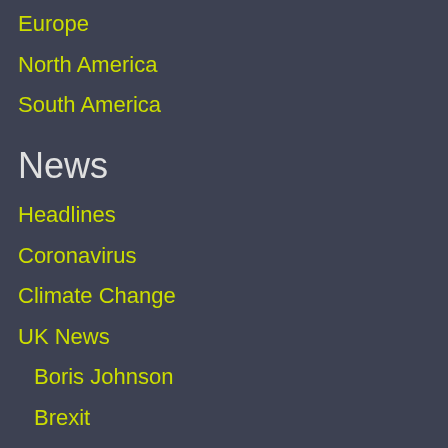Europe
North America
South America
News
Headlines
Coronavirus
Climate Change
UK News
Boris Johnson
Brexit
Premier League
Royal Family
US News